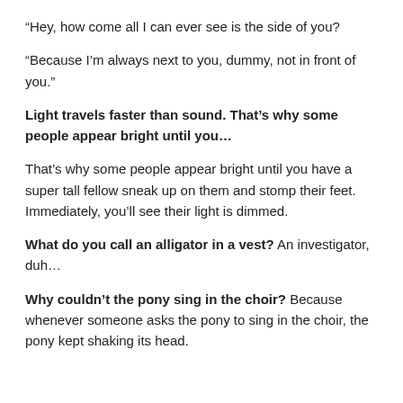“Hey, how come all I can ever see is the side of you?
“Because I’m always next to you, dummy, not in front of you.”
Light travels faster than sound. That’s why some people appear bright until you…
That’s why some people appear bright until you have a super tall fellow sneak up on them and stomp their feet. Immediately, you’ll see their light is dimmed.
What do you call an alligator in a vest? An investigator, duh…
Why couldn’t the pony sing in the choir? Because whenever someone asks the pony to sing in the choir, the pony kept shaking its head.